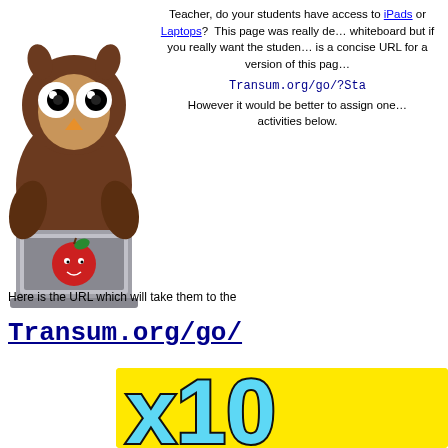[Figure (illustration): Cartoon owl sitting behind a laptop computer with an apple on the screen]
Teacher, do your students have access to iPads or Laptops? This page was really designed for a whiteboard but if you really want the students to use it, here is a concise URL for a version of this page...
Transum.org/go/?Sta
However it would be better to assign one of the activities below.
Here is the URL which will take them to the
Transum.org/go/
[Figure (screenshot): Yellow background with large blue outlined text reading 'x10']